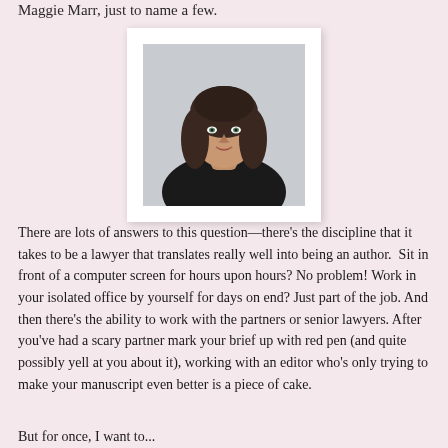Maggie Marr, just to name a few.
[Figure (photo): Professional headshot of a woman with long dark brown hair, wearing a black top, smiling, with a light background. Photo has a white border/frame.]
There are lots of answers to this question—there's the discipline that it takes to be a lawyer that translates really well into being an author.  Sit in front of a computer screen for hours upon hours? No problem! Work in your isolated office by yourself for days on end? Just part of the job. And then there's the ability to work with the partners or senior lawyers. After you've had a scary partner mark your brief up with red pen (and quite possibly yell at you about it), working with an editor who's only trying to make your manuscript even better is a piece of cake.
But for once, I want to...